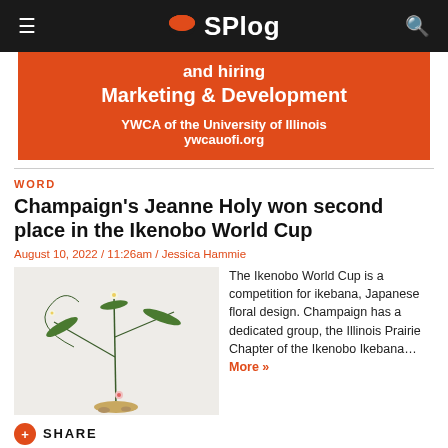SPlog
[Figure (infographic): Orange ad banner: 'and hiring Marketing & Development — YWCA of the University of Illinois ywcauofi.org']
WORD
Champaign's Jeanne Holy won second place in the Ikenobo World Cup
August 10, 2022 / 11:26am / Jessica Hammie
[Figure (photo): Photograph of a Japanese ikebana floral arrangement on a white background — tall grasses and delicate flowers in a low dish.]
The Ikenobo World Cup is a competition for ikebana, Japanese floral design. Champaign has a dedicated group, the Illinois Prairie Chapter of the Ikenobo Ikebana… More »
SHARE